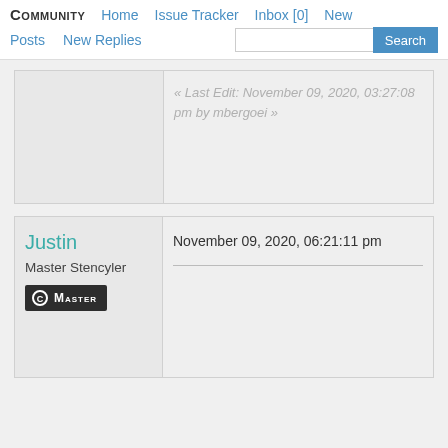Community  Home  Issue Tracker  Inbox [0]  New  Posts  New Replies  Search
« Last Edit: November 09, 2020, 03:27:08 pm by mbergoei »
Justin
Master Stencyler
C MASTER
November 09, 2020, 06:21:11 pm